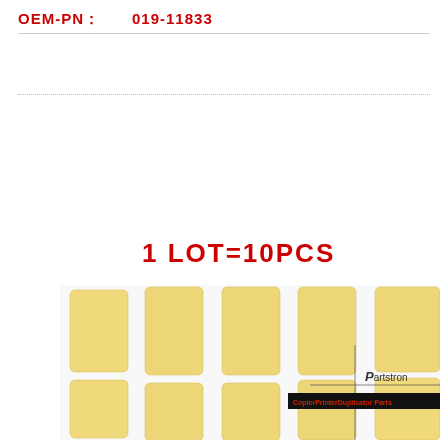OEM-PN：　　019-11833
[Figure (photo): Photo of 10 yellowish rectangular pads/pieces arranged in two rows on a white surface, with Partstron watermark and CopierPrinterDuplicator Parts banner overlay]
1 LOT=10PCS